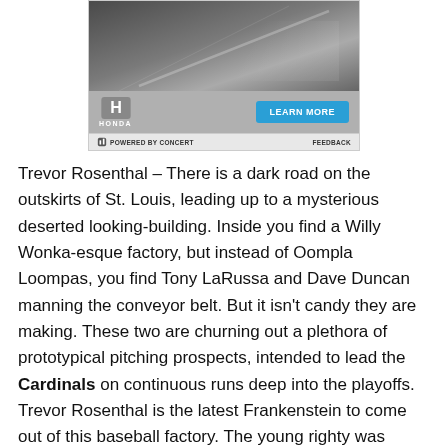[Figure (screenshot): Honda advertisement banner with dark car image, Learn More button, Honda logo, and 'Powered by Concert' footer with Feedback link]
Trevor Rosenthal – There is a dark road on the outskirts of St. Louis, leading up to a mysterious deserted looking-building. Inside you find a Willy Wonka-esque factory, but instead of Oompla Loompas, you find Tony LaRussa and Dave Duncan manning the conveyor belt. But it isn't candy they are making. These two are churning out a plethora of prototypical pitching prospects, intended to lead the Cardinals on continuous runs deep into the playoffs. Trevor Rosenthal is the latest Frankenstein to come out of this baseball factory. The young righty was dominant while setting-up for the Cardinals for most of the 2013 season. Then after Edward Mujica faltered as the